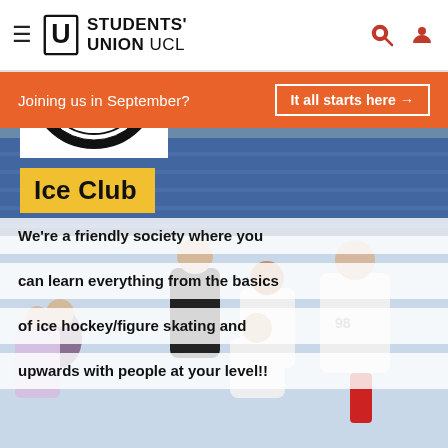Students' Union UCL
Joining us in September? It all starts here →
[Figure (logo): University College London ICE club circular logo with crossed lines, anchor motif and text EST. 2006]
[Figure (photo): Group of ice hockey players in white and purple jerseys posing on ice rink with blue stadium seats in background]
Ice Club
We're a friendly society where you can learn everything from the basics of ice hockey/figure skating and upwards with people at your level!!